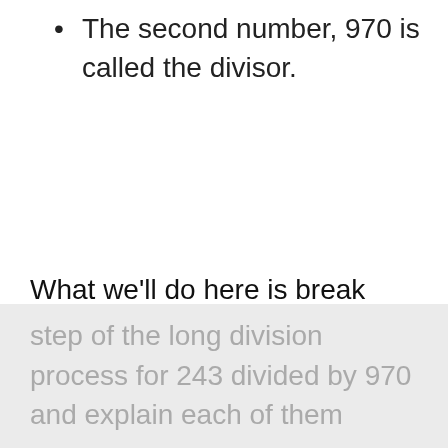The second number, 970 is called the divisor.
What we'll do here is break down each
step of the long division process for 243 divided by 970 and explain each of them